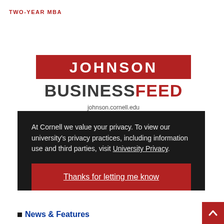TWO-YEAR MBA
[Figure (logo): Johnson Business Feed logo: red rectangular banner with 'JOHNSON' in white bold text, below it 'BUSINESSFEED' in large bold text with BUSINESS in dark gray and FEED in red, followed by partial URL text 'johnson.cornell.edu']
At Cornell we value your privacy. To view our university's privacy practices, including information use and third parties, visit University Privacy.
Thanks for letting me know
News & Features